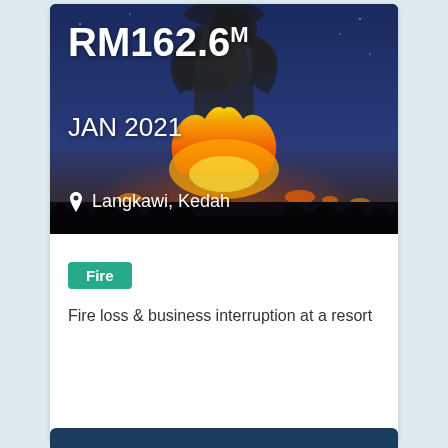[Figure (photo): Fire at night with large black smoke plume rising from a bright orange blaze against a dark blue twilight sky, silhouetted treeline in foreground. Text overlays: RM162.6M in bold white, JAN 2021, and location pin icon with Langkawi, Kedah.]
RM162.6M
JAN 2021
Langkawi, Kedah
Fire
Fire loss & business interruption at a resort